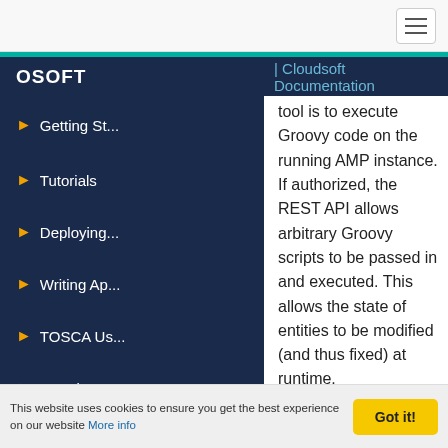OSOFT | Cloudsoft Documentation
Getting St...
Tutorials
Deploying...
Writing Ap...
TOSCA Us...
Locations
tool is to execute Groovy code on the running AMP instance. If authorized, the REST API allows arbitrary Groovy scripts to be passed in and executed. This allows the state of entities to be modified (and thus fixed) at runtime.
If used, it is strongly recommended that Groovy scripts are run against a disconnected AMP instance. After fixing the entities, locations and/or policies, the AMP instance's new persisted state can be copied and used to fix the production instance.
This website uses cookies to ensure you get the best experience on our website More info | Got it!